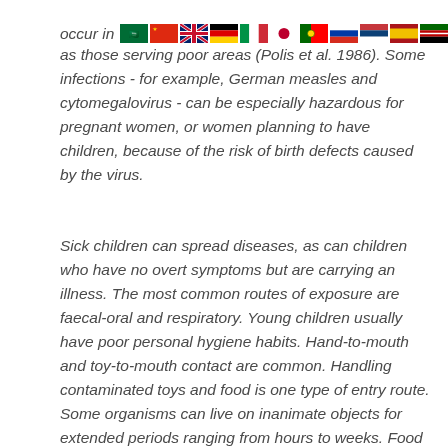occur in [flags] as well as those serving poor areas (Polis et al. 1986). Some infections - for example, German measles and cytomegalovirus - can be especially hazardous for pregnant women, or women planning to have children, because of the risk of birth defects caused by the virus.
Sick children can spread diseases, as can children who have no overt symptoms but are carrying an illness. The most common routes of exposure are faecal-oral and respiratory. Young children usually have poor personal hygiene habits. Hand-to-mouth and toy-to-mouth contact are common. Handling contaminated toys and food is one type of entry route. Some organisms can live on inanimate objects for extended periods ranging from hours to weeks. Food can also be a vector if the food handler has contaminated hands or is ill. Inhalation of airborne respiratory droplets due to sneezing and coughing without protection such as tissues can result in transmission of infections. Such air-borne aerosols can remain